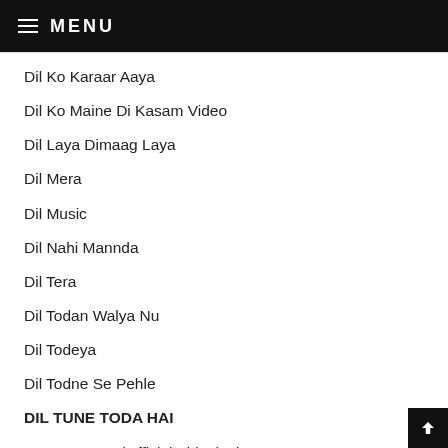MENU
Dil Ko Karaar Aaya
Dil Ko Maine Di Kasam Video
Dil Laya Dimaag Laya
Dil Mera
Dil Music
Dil Nahi Mannda
Dil Tera
Dil Todan Walya Nu
Dil Todeya
Dil Todne Se Pehle
DIL TUNE TODA HAI
DILDARIYAN (Official Video) Singga